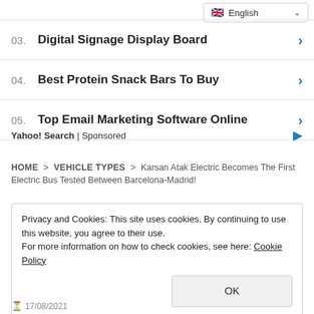[Figure (screenshot): Language selector dropdown showing English with flag icon and chevron]
03. Digital Signage Display Board
04. Best Protein Snack Bars To Buy
05. Top Email Marketing Software Online
Yahoo! Search | Sponsored
HOME > VEHICLE TYPES > Karsan Atak Electric Becomes The First Electric Bus Tested Between Barcelona-Madrid!
Privacy and Cookies: This site uses cookies. By continuing to use this website, you agree to their use.
For more information on how to check cookies, see here: Cookie Policy
OK
17/08/2021